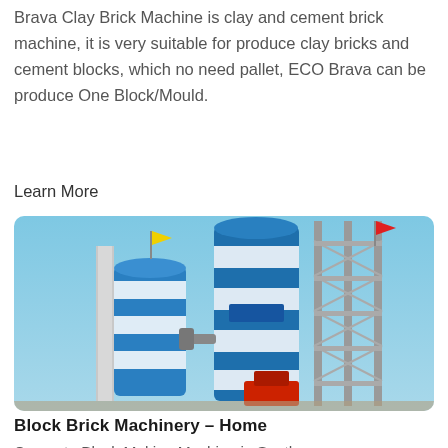Brava Clay Brick Machine is clay and cement brick machine, it is very suitable for produce clay bricks and cement blocks, which no need pallet, ECO Brava can be produce One Block/Mould.
Learn More
[Figure (photo): Industrial concrete/cement plant with large blue and white cylindrical silos and tall steel framework structures against a clear blue sky]
Block Brick Machinery – Home
Concrete Block Making Machine in South Africa,Ghana,Ethiopia,Kenya. 400-200-200mm concrete hollow block.